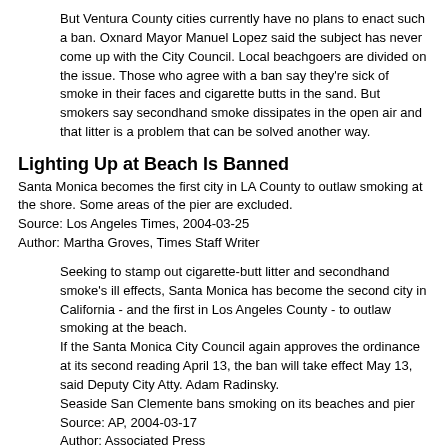But Ventura County cities currently have no plans to enact such a ban. Oxnard Mayor Manuel Lopez said the subject has never come up with the City Council. Local beachgoers are divided on the issue. Those who agree with a ban say they're sick of smoke in their faces and cigarette butts in the sand. But smokers say secondhand smoke dissipates in the open air and that litter is a problem that can be solved another way.
Lighting Up at Beach Is Banned
Santa Monica becomes the first city in LA County to outlaw smoking at the shore. Some areas of the pier are excluded.
Source: Los Angeles Times, 2004-03-25
Author: Martha Groves, Times Staff Writer
Seeking to stamp out cigarette-butt litter and secondhand smoke's ill effects, Santa Monica has become the second city in California - and the first in Los Angeles County - to outlaw smoking at the beach.
If the Santa Monica City Council again approves the ordinance at its second reading April 13, the ban will take effect May 13, said Deputy City Atty. Adam Radinsky.
Seaside San Clemente bans smoking on its beaches and pier
Source: AP, 2004-03-17
Author: Associated Press
Smoking will be banned on the city pier and beaches.